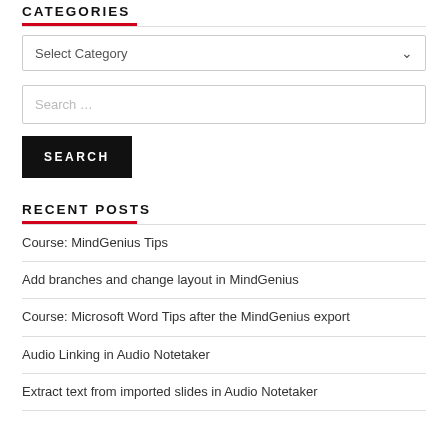CATEGORIES
Select Category
Search …
SEARCH
RECENT POSTS
Course: MindGenius Tips
Add branches and change layout in MindGenius
Course: Microsoft Word Tips after the MindGenius export
Audio Linking in Audio Notetaker
Extract text from imported slides in Audio Notetaker